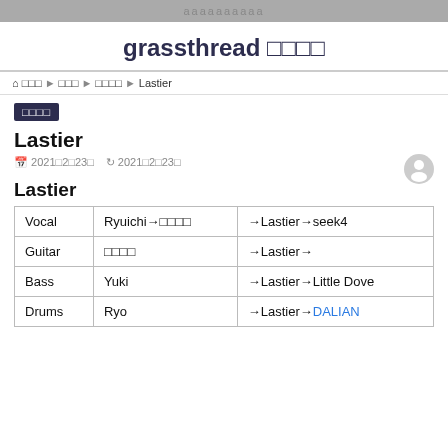aaaaaaaaaa
grassthread □□□□
⌂ □□□ ▶ □□□ ▶ □□□□ ▶ Lastier
□□□□
Lastier
📅 2021□2□23□  🔄 2021□2□23□
Lastier
|  |  |  |
| --- | --- | --- |
| Vocal | Ryuichi→□□□□ | →Lastier→seek4 |
| Guitar | □□□□ | →Lastier→ |
| Bass | Yuki | →Lastier→Little Dove |
| Drums | Ryo | →Lastier→DALIAN |